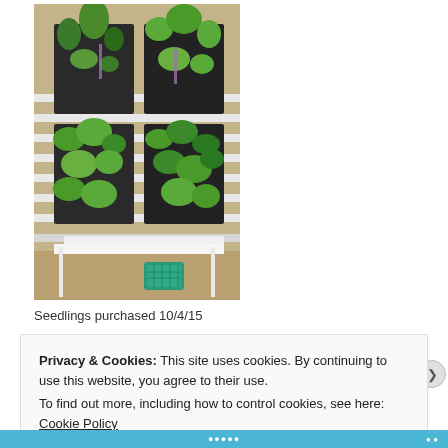[Figure (photo): Photo of seedling trays with various green plant seedlings in black plastic pots arranged on a white wooden surface. A teal/green small basket is visible at the bottom. Background shows dry grass.]
Seedlings purchased 10/4/15
Privacy & Cookies: This site uses cookies. By continuing to use this website, you agree to their use.
To find out more, including how to control cookies, see here: Cookie Policy
Close and accept